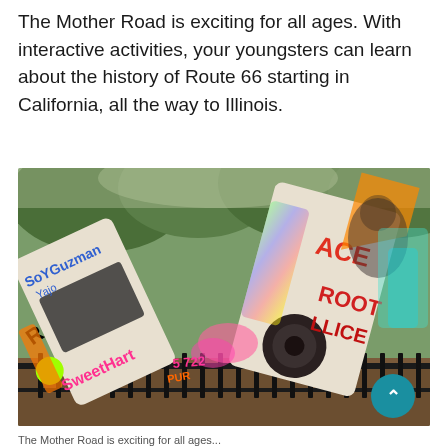The Mother Road is exciting for all ages. With interactive activities, your youngsters can learn about the history of Route 66 starting in California, all the way to Illinois.
[Figure (photo): Outdoor art installation showing cars buried nose-first in the ground and covered with colorful graffiti, surrounded by a black iron fence with trees in background. Graffiti text visible includes 'ACE', 'ROOT', 'SoYGuzman', and other spray-painted words in neon colors.]
The Mother Road is exciting for all ages...